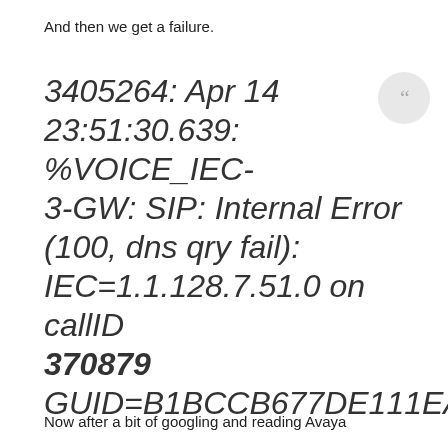And then we get a failure.
3405264: Apr 14 23:51:30.639: %VOICE_IEC-3-GW: SIP: Internal Error (100, dns qry fail): IEC=1.1.128.7.51.0 on callID 370879 GUID=B1BCCB677DE111EABB48AD
Now after a bit of googling and reading Avaya